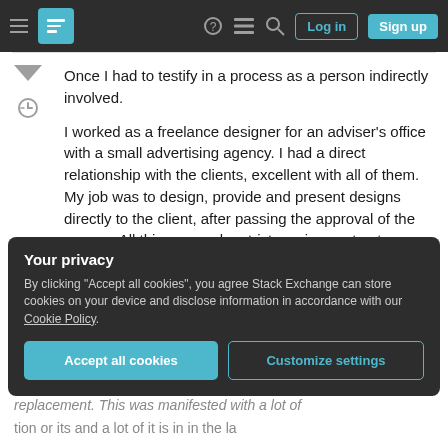Stack Exchange navigation bar with logo, help, chat, search, Log in, Sign up
Once I had to testify in a process as a person indirectly involved.
I worked as a freelance designer for an adviser's office with a small advertising agency. I had a direct relationship with the clients, excellent with all of them. My job was to design, provide and present designs directly to the client, after passing the approval of the agency. All this was under strict service contracts.
Your privacy
By clicking "Accept all cookies", you agree Stack Exchange can store cookies on your device and disclose information in accordance with our Cookie Policy.
Accept all cookies
Customize settings
replacement. This was manifested with a lot of...